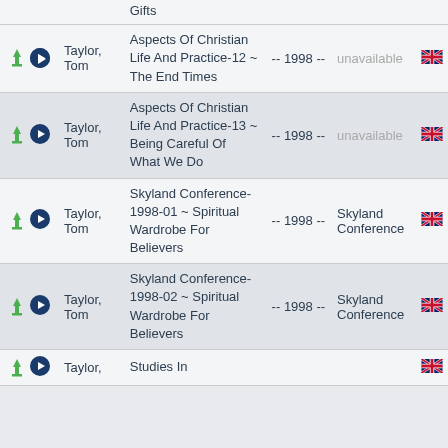| Icons | Speaker | Title | Date | Series | Language |
| --- | --- | --- | --- | --- | --- |
| ↓ ▶ | Taylor, Tom | Aspects Of Christian Life And Practice-12 ~ The End Times | -- 1998 -- | unavailable | 🇬🇧 |
| ↓ ▶ | Taylor, Tom | Aspects Of Christian Life And Practice-13 ~ Being Careful Of What We Do | -- 1998 -- | unavailable | 🇬🇧 |
| ↓ ▶ | Taylor, Tom | Skyland Conference-1998-01 ~ Spiritual Wardrobe For Believers | -- 1998 -- | Skyland Conference | 🇬🇧 |
| ↓ ▶ | Taylor, Tom | Skyland Conference-1998-02 ~ Spiritual Wardrobe For Believers | -- 1998 -- | Skyland Conference | 🇬🇧 |
| ↓ ▶ | Taylor, Tom | Studies In |  |  | 🇬🇧 |